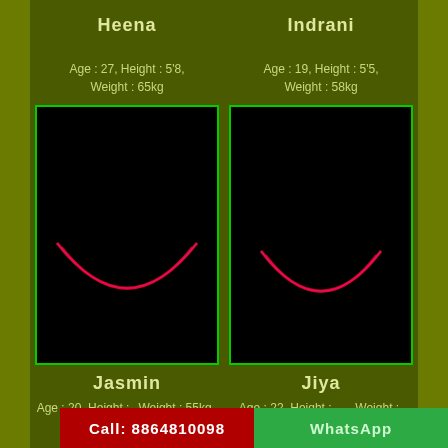Heena
Indrani
Age : 27, Height : 5'8, Weight : 65kg
Age : 19, Height : 5'5, Weight : 58kg
[Figure (illustration): Black panel with a glowing red crescent/smile curve at the bottom center, labeled Jasmin]
[Figure (illustration): Black panel with a glowing red crescent/smile curve at the bottom center, labeled Jiya]
Jasmin
Jiya
Age : 20, Height : 5'7, Weight : 55kg Done
Age : 22, Height : 5'4, Weight : 54kg
Call: 8864810098
WhatsApp